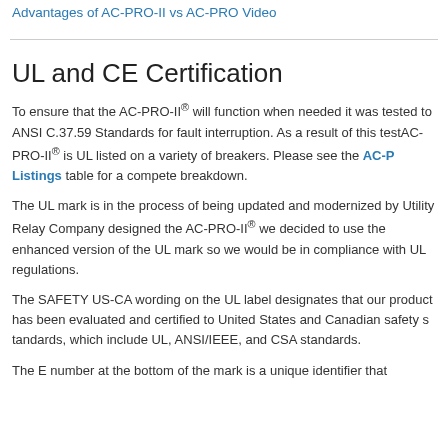Advantages of AC-PRO-II vs AC-PRO Video
UL and CE Certification
To ensure that the AC-PRO-II® will function when needed it was tested to ANSI C.37.59 Standards for fault interruption. As a result of this test, AC-PRO-II® is UL listed on a variety of breakers. Please see the AC-P... Listings table for a compete breakdown.
The UL mark is in the process of being updated and modernized by Utility Relay Company designed the AC-PRO-II® we decided to use the enhanced version of the UL mark so we would be in compliance with UL regulations.
The SAFETY US-CA wording on the UL label designates that our product has been evaluated and certified to United States and Canadian safety standards, which include UL, ANSI/IEEE, and CSA standards.
The E number at the bottom of the mark is a unique identifier that